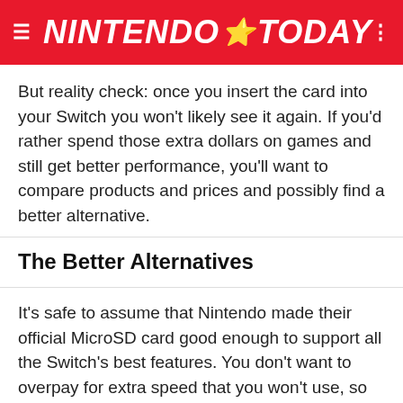NINTENDO ⭐ TODAY
But reality check: once you insert the card into your Switch you won't likely see it again. If you'd rather spend those extra dollars on games and still get better performance, you'll want to compare products and prices and possibly find a better alternative.
The Better Alternatives
It's safe to assume that Nintendo made their official MicroSD card good enough to support all the Switch's best features. You don't want to overpay for extra speed that you won't use, so we're looking for a card that has the same exact specs without the extra cost. And here it is…
The SanDisk Extreme Micro SDXC Cards are the best Micro SD Cards for the Nintendo Switch: